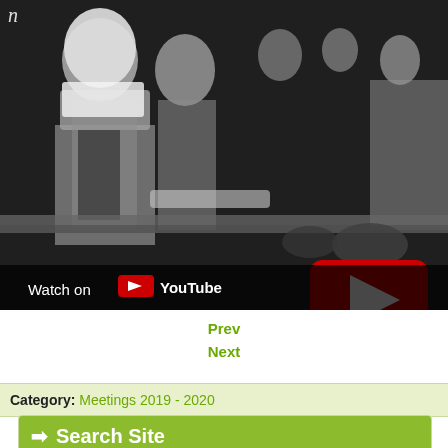[Figure (screenshot): Black and white YouTube video thumbnail showing people in white chef hats and aprons working at a food serving counter. A red YouTube play button is visible in the center. The bottom bar shows 'Watch on YouTube' with YouTube logo.]
Prev
Next
Category: Meetings 2019 - 2020
Search Site